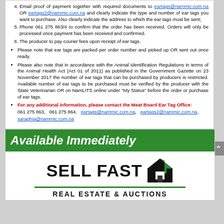Email proof of payment together with required documents to eartags@nammic.com.na OR eartags2@nammic.com.na and clearly indicate the type and number of ear tags you want to purchase. Also clearly indicate the address to which the ear tags must be sent;
Phone 061 275 863/4 to confirm that the order has been received. Orders will only be processed once payment has been received and confirmed.
The producer to pay courier fees upon receipt of ear tags.
Please note that ear tags are packed per order number and picked up OR sent out once ready.
Please also note that in accordance with the Animal Identification Regulations in terms of the Animal Health Act (Act 01 of 2011) as published in the Government Gazette on 23 November 2017 the number of ear tags that can be purchased by producers is restricted. Available number of ear tags to be purchased must be verified by the producer with the State Veterinarian OR on NamLITS online under "My Status" before the order or purchase of ear tags.
For any additional information, please contact the Meat Board Ear Tag Office: 061 275 863, 061 275 864, eartags@nammic.com.na, eartags2@nammic.com.na, saraphia@nammic.com.na
[Figure (logo): Sell Fast Real Estate & Auctions logo with green banner saying Available Immediately]